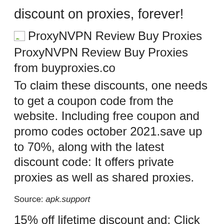discount on proxies, forever!
[Figure (other): Broken image icon for ProxyNVPN Review Buy Proxies]
ProxyNVPN Review Buy Proxies from buyproxies.co
To claim these discounts, one needs to get a coupon code from the website. Including free coupon and promo codes october 2021.save up to 70%, along with the latest discount code: It offers private proxies as well as shared proxies.
Source: apk.support
15% off lifetime discount and; Click to apply promo codes, vouchers and save on proxies